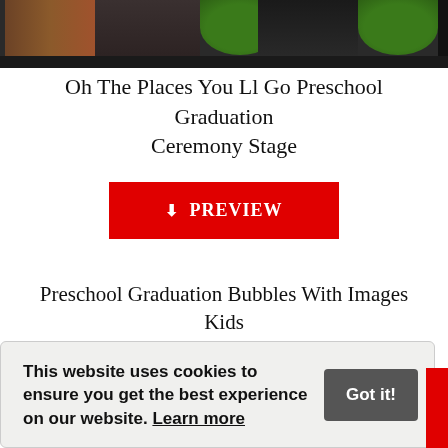[Figure (photo): Photo of a library/classroom stage with bookshelves on the left and green plant decorations, serving as backdrop for a preschool graduation ceremony]
Oh The Places You Ll Go Preschool Graduation Ceremony Stage
[Figure (other): Red PREVIEW button with download icon]
Preschool Graduation Bubbles With Images Kids Graduation
[Figure (other): Second red PREVIEW button (partially visible)]
Graduation Pictures Ideas (partially visible, red italic text behind cookie banner)
This website uses cookies to ensure you get the best experience on our website. Learn more